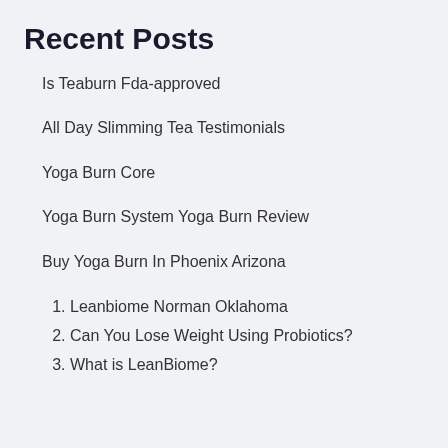Recent Posts
Is Teaburn Fda-approved
All Day Slimming Tea Testimonials
Yoga Burn Core
Yoga Burn System Yoga Burn Review
Buy Yoga Burn In Phoenix Arizona
1. Leanbiome Norman Oklahoma
2. Can You Lose Weight Using Probiotics?
3. What is LeanBiome?